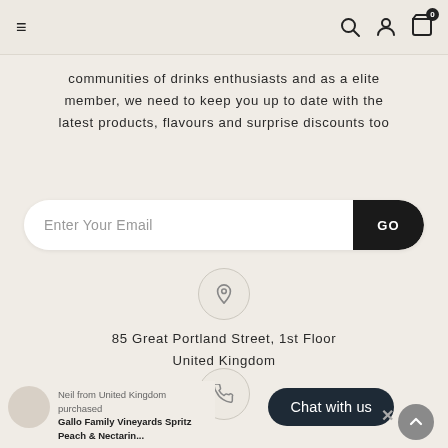Navigation bar with hamburger menu, search, account, and cart (0 items) icons
communities of drinks enthusiasts and as a elite member, we need to keep you up to date with the latest products, flavours and surprise discounts too
[Figure (other): Email subscription input field with GO button]
[Figure (other): Location pin icon in a circle]
85 Great Portland Street, 1st Floor United Kingdom
[Figure (other): Phone icon in a circle]
0333 335 5495
Neil from United Kingdom purchased Gallo Family Vineyards Spritz Peach & Nectarin...
Chat with us